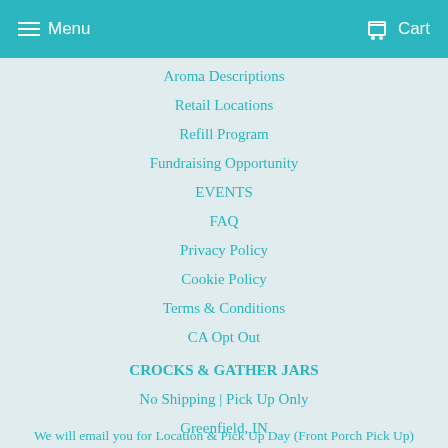Menu  Cart
Aroma Descriptions
Retail Locations
Refill Program
Fundraising Opportunity
EVENTS
FAQ
Privacy Policy
Cookie Policy
Terms & Conditions
CA Opt Out
CROCKS & GATHER JARS
No Shipping | Pick Up Only
Greenfield, IN
We will email you for Location & Pick Up Day (Front Porch Pick Up)